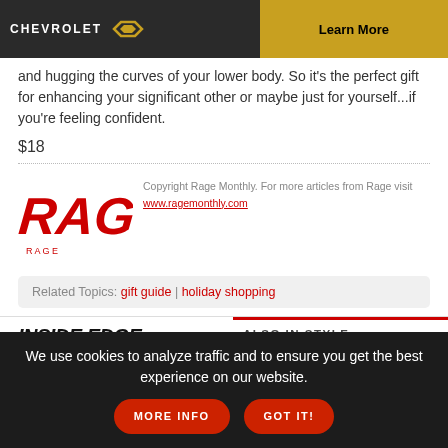[Figure (other): Chevrolet advertisement banner with dark wood background, Chevrolet logo, bowtie emblem, and 'Learn More' button on gold background]
and hugging the curves of your lower body. So it's the perfect gift for enhancing your significant other or maybe just for yourself...if you're feeling confident.
$18
[Figure (logo): RAGE magazine logo in red stylized text]
Copyright Rage Monthly. For more articles from Rage visit www.ragemonthly.com
Related Topics: gift guide | holiday shopping
INSIDE EDGE
ALSO IN STYLE
We use cookies to analyze traffic and to ensure you get the best experience on our website.